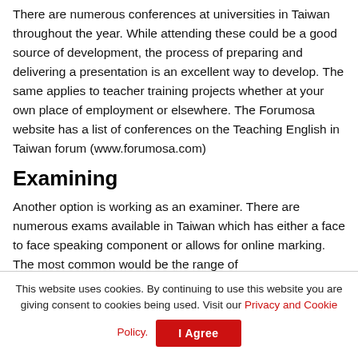There are numerous conferences at universities in Taiwan throughout the year. While attending these could be a good source of development, the process of preparing and delivering a presentation is an excellent way to develop. The same applies to teacher training projects whether at your own place of employment or elsewhere. The Forumosa website has a list of conferences on the Teaching English in Taiwan forum (www.forumosa.com)
Examining
Another option is working as an examiner. There are numerous exams available in Taiwan which has either a face to face speaking component or allows for online marking. The most common would be the range of
This website uses cookies. By continuing to use this website you are giving consent to cookies being used. Visit our Privacy and Cookie Policy.